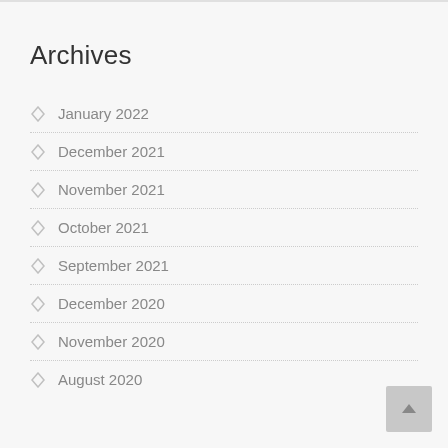Archives
January 2022
December 2021
November 2021
October 2021
September 2021
December 2020
November 2020
August 2020